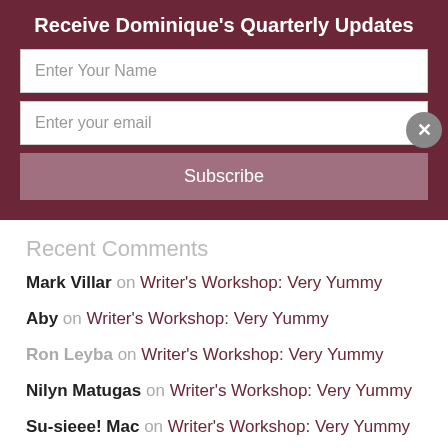Receive Dominique's Quarterly Updates
Enter Your Name
Enter your email
Subscribe
Recent Comments
Mark Villar on Writer's Workshop: Very Yummy
Aby on Writer's Workshop: Very Yummy
Ron Leyba on Writer's Workshop: Very Yummy
Nilyn Matugas on Writer's Workshop: Very Yummy
Su-sieee! Mac on Writer's Workshop: Very Yummy